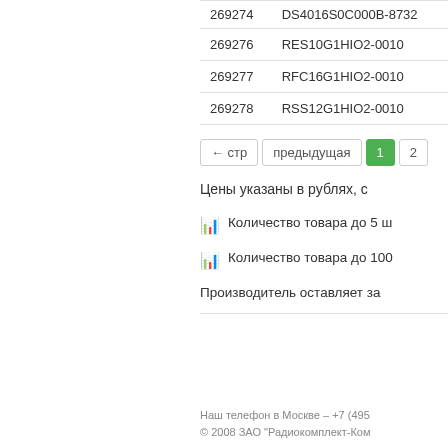| ID | Name |
| --- | --- |
| 269274 | DS4016S0C000B-8732 |
| 269276 | RES10G1HIO2-0010 |
| 269277 | RFC16G1HIO2-0010 |
| 269278 | RSS12G1HIO2-0010 |
← стр   предыдущая   1   2
Цены указаны в рублях, с
Количество товара до 5 ш
Количество товара до 100
Производитель оставляет за
Наш телефон в Москве – +7 (495
© 2008 ЗАО "Радиокомплект-Ком